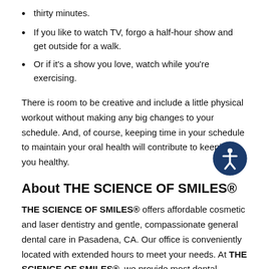thirty minutes.
If you like to watch TV, forgo a half-hour show and get outside for a walk.
Or if it's a show you love, watch while you're exercising.
There is room to be creative and include a little physical workout without making any big changes to your schedule. And, of course, keeping time in your schedule to maintain your oral health will contribute to keeping you healthy.
About THE SCIENCE OF SMILES®
THE SCIENCE OF SMILES® offers affordable cosmetic and laser dentistry and gentle, compassionate general dental care in Pasadena, CA. Our office is conveniently located with extended hours to meet your needs. At THE SCIENCE OF SMILES®, we provide most dental services, from basic preventative care and general dentistry to specialized procedures, complete dental reconstruction and